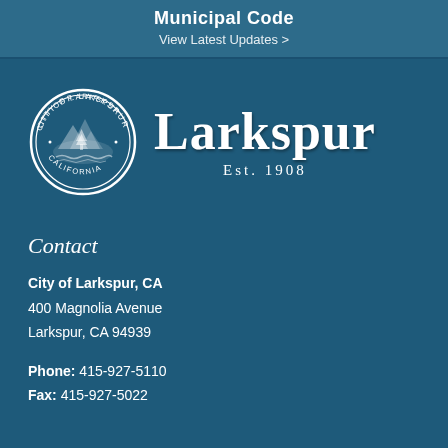Municipal Code
View Latest Updates >
[Figure (logo): City of Larkspur seal and wordmark logo with 'Larkspur' in large serif font and 'Est. 1908' below]
Contact
City of Larkspur, CA
400 Magnolia Avenue
Larkspur, CA 94939

Phone: 415-927-5110
Fax: 415-927-5022